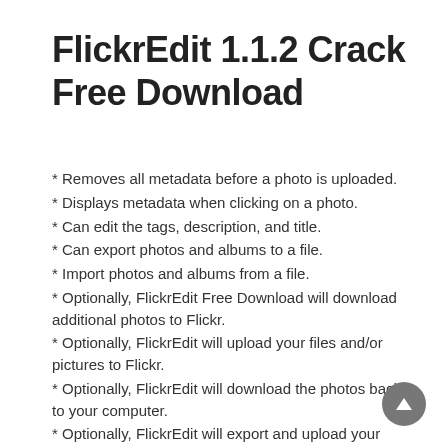FlickrEdit 1.1.2 Crack Free Download
* Removes all metadata before a photo is uploaded.
* Displays metadata when clicking on a photo.
* Can edit the tags, description, and title.
* Can export photos and albums to a file.
* Import photos and albums from a file.
* Optionally, FlickrEdit Free Download will download additional photos to Flickr.
* Optionally, FlickrEdit will upload your files and/or pictures to Flickr.
* Optionally, FlickrEdit will download the photos back to your computer.
* Optionally, FlickrEdit will export and upload your photos to your computer.
* Optionally, FlickrEdit will export and upload your